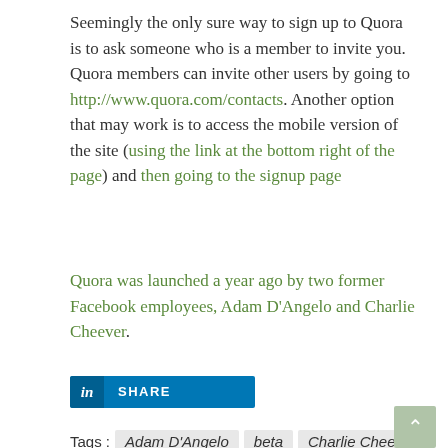Seemingly the only sure way to sign up to Quora is to ask someone who is a member to invite you. Quora members can invite other users by going to http://www.quora.com/contacts. Another option that may work is to access the mobile version of the site (using the link at the bottom right of the page) and then going to the signup page
Quora was launched a year ago by two former Facebook employees, Adam D'Angelo and Charlie Cheever.
[Figure (other): LinkedIn Share button — blue rectangle with 'in' logo and 'SHARE' text]
Tags : Adam D'Angelo  beta  Charlie Cheever  email  Facebook  invites  private beta  quora  Social Networking  Social Web  social web  Twitter  wikipedia  Yahoo